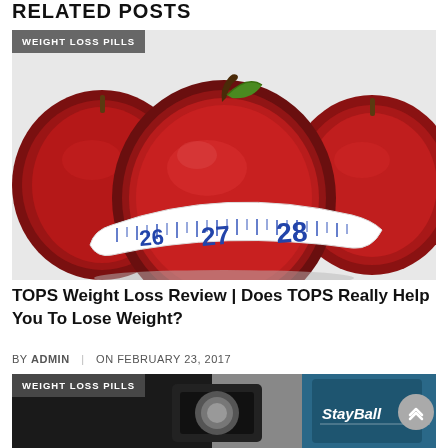RELATED POSTS
[Figure (photo): Red apples with a measuring tape wrapped around one of them showing measurements 26, 27, 28, on a white background]
TOPS Weight Loss Review | Does TOPS Really Help You To Lose Weight?
BY ADMIN | ON FEBRUARY 23, 2017
[Figure (photo): Partial image of a weight scale and blue object with 'StayBall' branding, with WEIGHT LOSS PILLS badge]